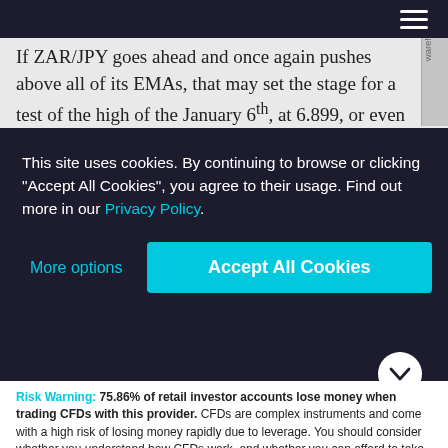If ZAR/JPY goes ahead and once again pushes above all of its EMAs, that may set the stage for a test of the high of the January 6th, at 6.899, or even of the 6.931 zone,
This site uses cookies. By continuing to browse or clicking "Accept All Cookies", you agree to their usage. Find out more in our Privacy Policy.
Risk Warning: 75.86% of retail investor accounts lose money when trading CFDs with this provider. CFDs are complex instruments and come with a high risk of losing money rapidly due to leverage. You should consider whether you understand how CFDs work, and whether you can afford to take the high risk of losing your money.